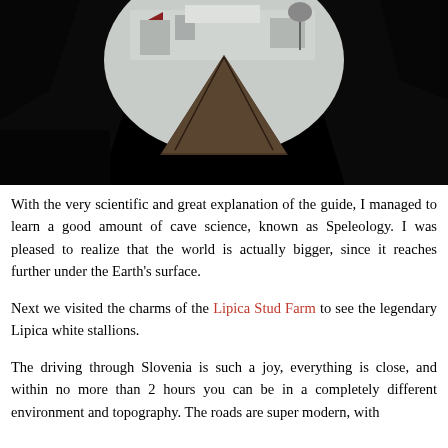[Figure (photo): Dark cave or archway photo, mostly black with a triangular wooden rooftop visible in the center background, some snow-covered buildings and trees in the far distance.]
With the very scientific and great explanation of the guide, I managed to learn a good amount of cave science, known as Speleology. I was pleased to realize that the world is actually bigger, since it reaches further under the Earth's surface.
Next we visited the charms of the Lipica Stud Farm to see the legendary Lipica white stallions.
The driving through Slovenia is such a joy, everything is close, and within no more than 2 hours you can be in a completely different environment and topography. The roads are super modern, with